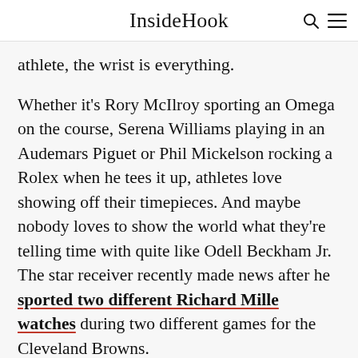InsideHook
athlete, the wrist is everything.
Whether it's Rory McIlroy sporting an Omega on the course, Serena Williams playing in an Audemars Piguet or Phil Mickelson rocking a Rolex when he tees it up, athletes love showing off their timepieces. And maybe nobody loves to show the world what they're telling time with quite like Odell Beckham Jr. The star receiver recently made news after he sported two different Richard Mille watches during two different games for the Cleveland Browns.